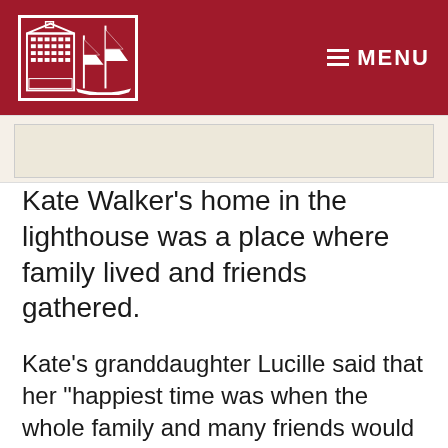MENU
[Figure (logo): Lighthouse museum/historical society logo with building and sailing ship in red and white]
[Figure (photo): Partial view of a document or photograph, beige/cream colored]
Kate Walker’s home in the lighthouse was a place where family lived and friends gathered.
Kate’s granddaughter Lucille said that her “happiest time was when the whole family and many friends would come out to the lighthouse…there were always so many goodies they would bring out.” At low tide, the family also had their own private beach that extended out more than 100 feet and all of